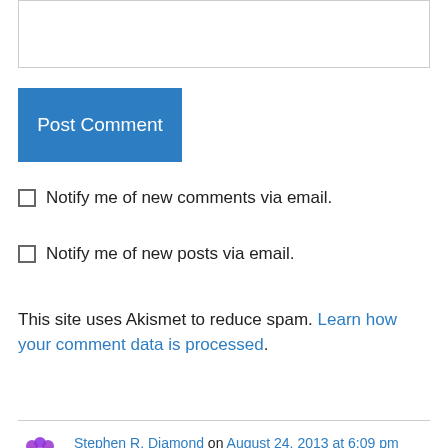[Figure (screenshot): Empty text input box with border]
Post Comment
Notify me of new comments via email.
Notify me of new posts via email.
This site uses Akismet to reduce spam. Learn how your comment data is processed.
Stephen R. Diamond on August 24, 2013 at 6:09 pm
It makes more difference than you might suppose: if the author endorses writing socially beneficial obvious things, then when others see the author writing obvious things, they should